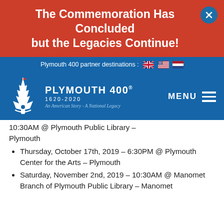The Commemoration Has Concluded but the Legacies Continue!
Plymouth 400 partner destinations :
[Figure (logo): Plymouth 400 logo with ship silhouette, text PLYMOUTH 400, 1620-2020, An American Story - A National Legacy]
MENU
10:30AM @ Plymouth Public Library – Plymouth
Thursday, October 17th, 2019 – 6:30PM @ Plymouth Center for the Arts – Plymouth
Saturday, November 2nd, 2019 – 10:30AM @ Manomet Branch of Plymouth Public Library – Manomet